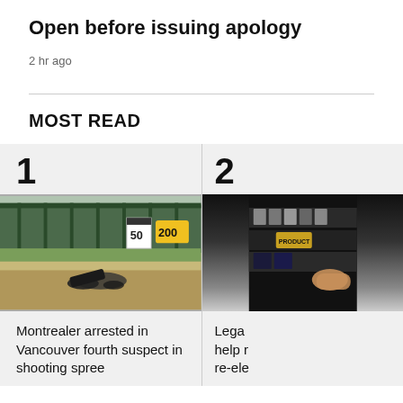Open before issuing apology
2 hr ago
MOST READ
[Figure (photo): Photo of a crash scene with overturned motorcycle debris on a road, green fence in background, road signs including a 50 km/h speed sign and a yellow warning sign showing 200.]
Montrealer arrested in Vancouver fourth suspect in shooting spree
[Figure (photo): Partial photo of a store shelf with products, partially cropped on the right side.]
Lega help r re-ele